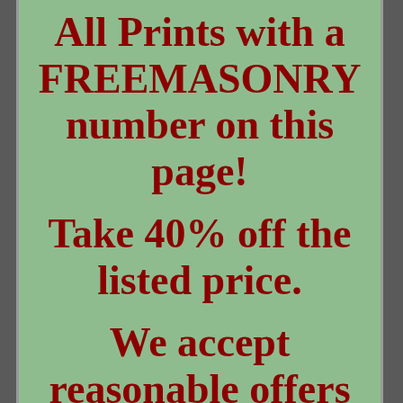All Prints with a FREEMASONRY number on this page! Take 40% off the listed price. We accept reasonable offers